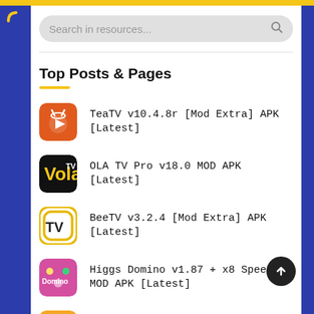[Figure (screenshot): Search bar with placeholder text 'Search in resources...' and search icon]
Top Posts & Pages
TeaTV v10.4.8r [Mod Extra] APK [Latest]
OLA TV Pro v18.0 MOD APK [Latest]
BeeTV v3.2.4 [Mod Extra] APK [Latest]
Higgs Domino v1.87 + x8 Speeder MOD APK [Latest]
File Manager v3.0.7 [Premium Mod] APK